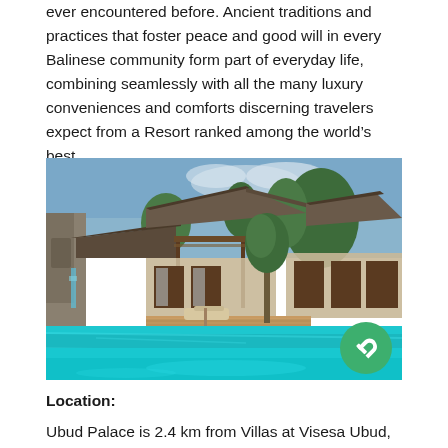ever encountered before. Ancient traditions and practices that foster peace and good will in every Balinese community form part of everyday life, combining seamlessly with all the many luxury conveniences and comforts discerning travelers expect from a Resort ranked among the world's best.
[Figure (photo): Balinese resort villa with thatched roof bungalows, wooden pergola, lounge chairs on deck, tropical trees, and a large turquoise swimming pool with a stone waterfall feature in the foreground.]
Location:
Ubud Palace is 2.4 km from Villas at Visesa Ubud, while